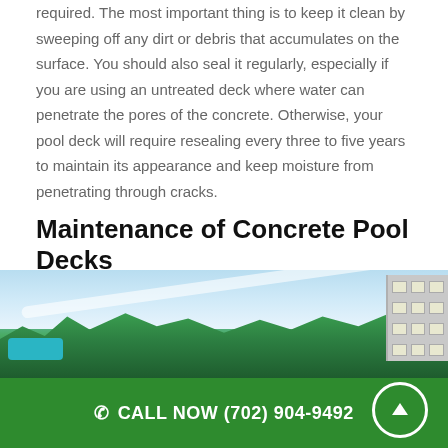required. The most important thing is to keep it clean by sweeping off any dirt or debris that accumulates on the surface. You should also seal it regularly, especially if you are using an untreated deck where water can penetrate the pores of the concrete. Otherwise, your pool deck will require resealing every three to five years to maintain its appearance and keep moisture from penetrating through cracks.
Maintenance of Concrete Pool Decks
When it comes to choosing a material for your pool deck, concrete has many benefits that other options just can't beat.
Durability:
[Figure (photo): Outdoor photo showing green trees against a blue sky with a building visible on the right side and what appears to be a pool or water feature at the bottom left.]
CALL NOW (702) 904-9492